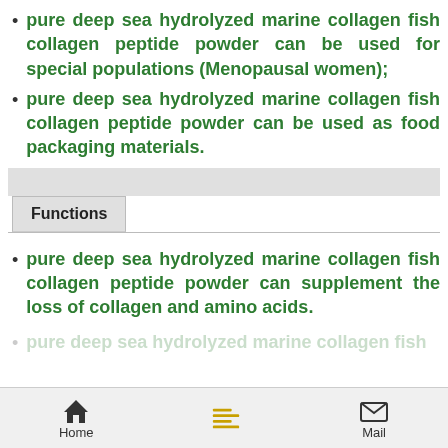pure deep sea hydrolyzed marine collagen fish collagen peptide powder can be used for special populations (Menopausal women);
pure deep sea hydrolyzed marine collagen fish collagen peptide powder can be used as food packaging materials.
Functions
pure deep sea hydrolyzed marine collagen fish collagen peptide powder can supplement the loss of collagen and amino acids.
pure deep sea hydrolyzed marine collagen fish
Home | Mail